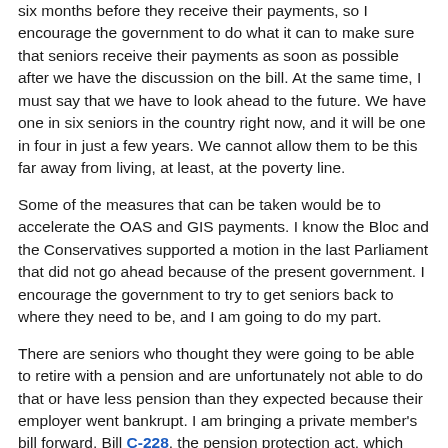six months before they receive their payments, so I encourage the government to do what it can to make sure that seniors receive their payments as soon as possible after we have the discussion on the bill. At the same time, I must say that we have to look ahead to the future. We have one in six seniors in the country right now, and it will be one in four in just a few years. We cannot allow them to be this far away from living, at least, at the poverty line.
Some of the measures that can be taken would be to accelerate the OAS and GIS payments. I know the Bloc and the Conservatives supported a motion in the last Parliament that did not go ahead because of the present government. I encourage the government to try to get seniors back to where they need to be, and I am going to do my part.
There are seniors who thought they were going to be able to retire with a pension and are unfortunately not able to do that or have less pension than they expected because their employer went bankrupt. I am bringing a private member's bill forward, Bill C-228, the pension protection act, which would cause